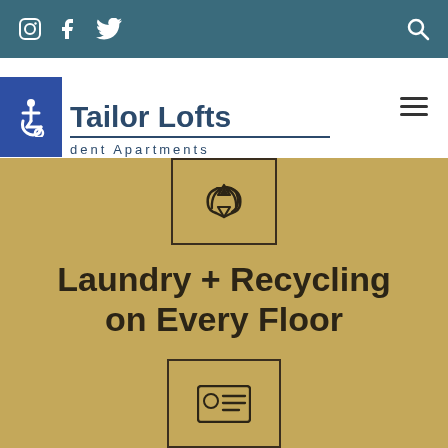Tailor Lofts — social icons (Instagram, Facebook, Twitter) and search icon nav bar
[Figure (logo): Tailor Lofts Independent Apartments logo with accessibility badge and hamburger menu]
[Figure (illustration): Recycling icon inside a bordered square box on gold background]
Laundry + Recycling on Every Floor
[Figure (illustration): ID card/contact card icon inside a bordered square box on gold background]